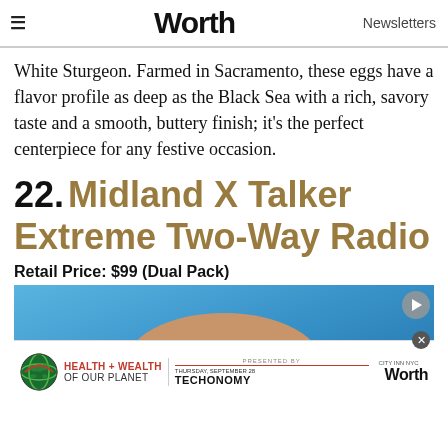Worth — Newsletters
White Sturgeon. Farmed in Sacramento, these eggs have a flavor profile as deep as the Black Sea with a rich, savory taste and a smooth, buttery finish; it's the perfect centerpiece for any festive occasion.
22. Midland X Talker Extreme Two-Way Radio
Retail Price: $99 (Dual Pack)
[Figure (photo): Partial image of a person's chin and neck against a blue sky background, with an overlaid advertisement banner for 'Health + Wealth of Our Planet' event presented by Techonomy and Worth magazine.]